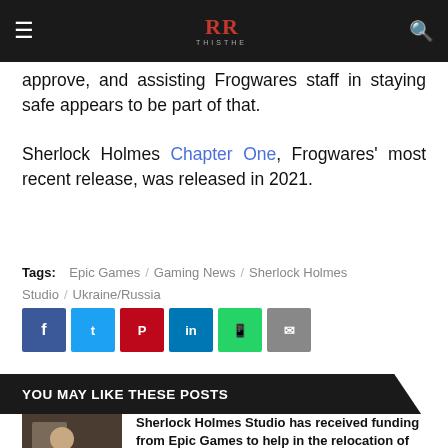THISTHE
approve, and assisting Frogwares staff in staying safe appears to be part of that.

Sherlock Holmes Chapter One, Frogwares' most recent release, was released in 2021.
Tags: Epic Games / Gaming News / Sherlock Holmes Studio / Ukraine/Russia
[Figure (infographic): Social share buttons: Facebook, Twitter, Pinterest, LinkedIn, WhatsApp, Email]
YOU MAY LIKE THESE POSTS
[Figure (photo): Thumbnail image for related post]
Sherlock Holmes Studio has received funding from Epic Games to help in the relocation of employees from Ukraine